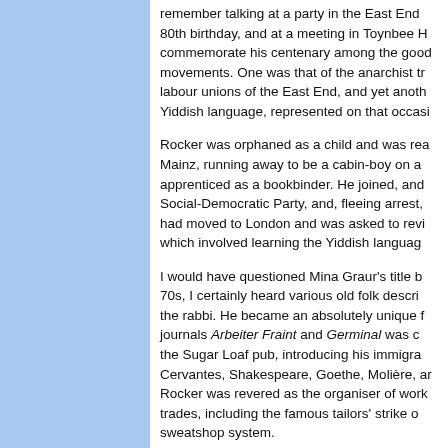remember talking at a party in the East End... 80th birthday, and at a meeting in Toynbee H... commemorate his centenary among the good... movements. One was that of the anarchist tr... labour unions of the East End, and yet anoth... Yiddish language, represented on that occasi...
Rocker was orphaned as a child and was rea... Mainz, running away to be a cabin-boy on a... apprenticed as a bookbinder. He joined, and... Social-Democratic Party, and, fleeing arrest,... had moved to London and was asked to revi... which involved learning the Yiddish languag...
I would have questioned Mina Graur's title b... 70s, I certainly heard various old folk descri... the rabbi. He became an absolutely unique f... journals Arbeiter Fraint and Germinal was c... the Sugar Loaf pub, introducing his immigra... Cervantes, Shakespeare, Goethe, Molière, ar... Rocker was revered as the organiser of work... trades, including the famous tailors' strike o... sweatshop system.
This world collapsed with the first World Wa... alien in various bizarre locations, as we...